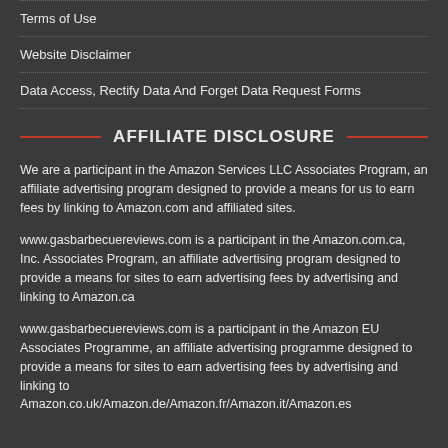Terms of Use
Website Disclaimer
Data Access, Rectify Data And Forget Data Request Forms
AFFILIATE DISCLOSURE
We are a participant in the Amazon Services LLC Associates Program, an affiliate advertising program designed to provide a means for us to earn fees by linking to Amazon.com and affiliated sites.
www.gasbarbecuereviews.com is a participant in the Amazon.com.ca, Inc. Associates Program, an affiliate advertising program designed to provide a means for sites to earn advertising fees by advertising and linking to Amazon.ca
www.gasbarbecuereviews.com is a participant in the Amazon EU Associates Programme, an affiliate advertising programme designed to provide a means for sites to earn advertising fees by advertising and linking to Amazon.co.uk/Amazon.de/Amazon.fr/Amazon.it/Amazon.es